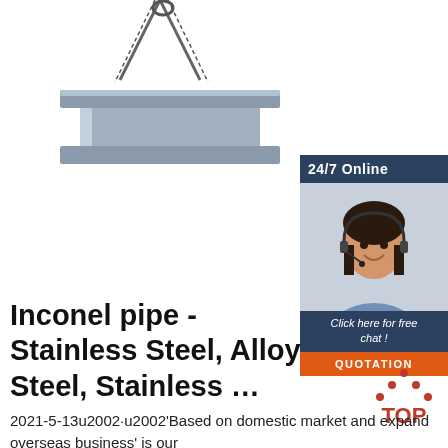[Figure (photo): Steel I-beam suspended by wire rope sling against white background]
[Figure (infographic): 24/7 Online chat widget with customer service representative photo, 'Click here for free chat!' text, and orange QUOTATION button]
Inconel pipe - Stainless Steel, Alloy Steel, Stainless ...
[Figure (logo): TOP logo with red dots forming a triangle above the word TOP in red]
2021-5-13u2002·u2002'Based on domestic market and expand overseas business' is our